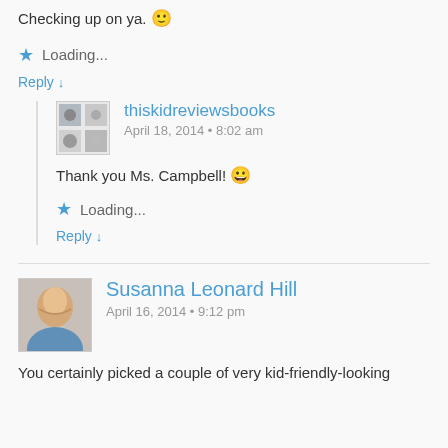Checking up on ya. 🙂
★ Loading...
Reply ↓
thiskidreviewsbooks
April 18, 2014 • 8:02 am
Thank you Ms. Campbell! 😀
★ Loading...
Reply ↓
Susanna Leonard Hill
April 16, 2014 • 9:12 pm
You certainly picked a couple of very kid-friendly-looking